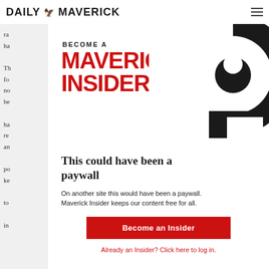DAILY MAVERICK
[Figure (logo): Daily Maverick logo with eagle emblem and site name in bold black text, plus hamburger menu icon on the right]
[Figure (infographic): Become a Maverick Insider promotional banner with large red bold text 'MAVERICK INSIDER' and a large black spiral/swirl graphic on the right]
This could have been a paywall
On another site this would have been a paywall. Maverick Insider keeps our content free for all.
Become an Insider
Already an Insider? Click here to log in.